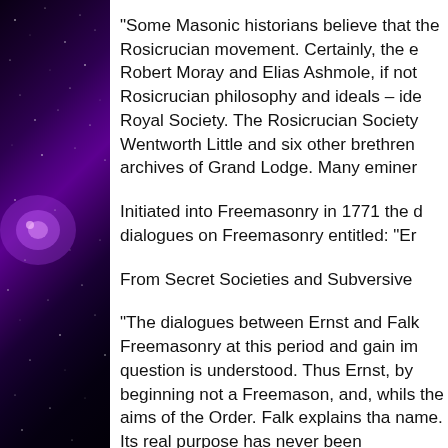“Some Masonic historians believe that the Rosicrucian movement. Certainly, the e Robert Moray and Elias Ashmole, if not Rosicrucian philosophy and ideals – ide Royal Society. The Rosicrucian Society Wentworth Little and six other brethren archives of Grand Lodge. Many eminer
Initiated into Freemasonry in 1771 the d dialogues on Freemasonry entitled: "Er
From Secret Societies and Subversive
“The dialogues between Ernst and Falk Freemasonry at this period and gain im question is understood. Thus Ernst, by beginning not a Freemason, and, whils the aims of the Order. Falk explains tha name. Its real purpose has never been philanthropic association, but in reality